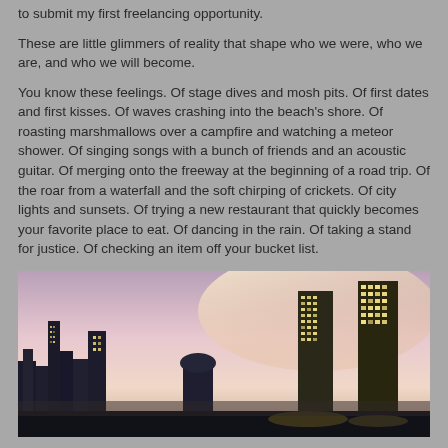to submit my first freelancing opportunity.
These are little glimmers of reality that shape who we were, who we are, and who we will become.
You know these feelings. Of stage dives and mosh pits. Of first dates and first kisses. Of waves crashing into the beach's shore. Of roasting marshmallows over a campfire and watching a meteor shower. Of singing songs with a bunch of friends and an acoustic guitar. Of merging onto the freeway at the beginning of a road trip. Of the roar from a waterfall and the soft chirping of crickets. Of city lights and sunsets. Of trying a new restaurant that quickly becomes your favorite place to eat. Of dancing in the rain. Of taking a stand for justice. Of checking an item off your bucket list.
[Figure (photo): City skyline at night with tall illuminated skyscrapers against a purple-pink sky.]